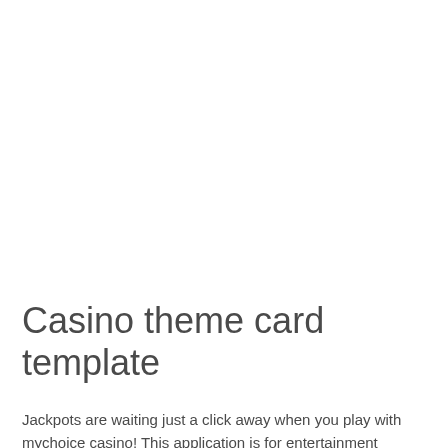Casino theme card template
Jackpots are waiting just a click away when you play with mychoice casino! This application is for entertainment purposes